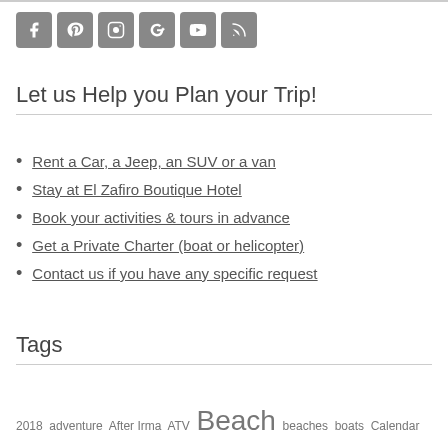[Figure (infographic): Row of 6 social media icon buttons: Facebook, Pinterest, Instagram, Google+, YouTube, RSS feed]
Let us Help you Plan your Trip!
Rent a Car, a Jeep, an SUV or a van
Stay at El Zafiro Boutique Hotel
Book your activities & tours in advance
Get a Private Charter (boat or helicopter)
Contact us if you have any specific request
Tags
2018 adventure After Irma ATV Beach beaches boats Calendar